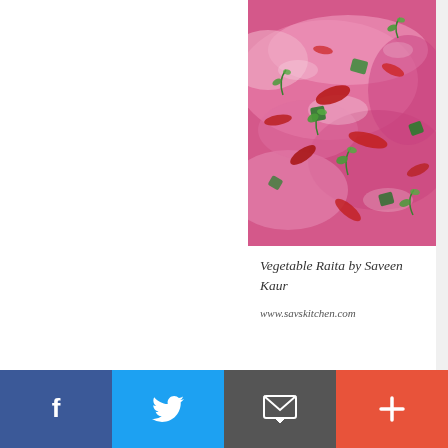[Figure (photo): Close-up photo of Vegetable Raita — pink/magenta yogurt dish with red vegetables and green herbs/peppers scattered on top]
Vegetable Raita by Saveen Kaur
www.savskitchen.com